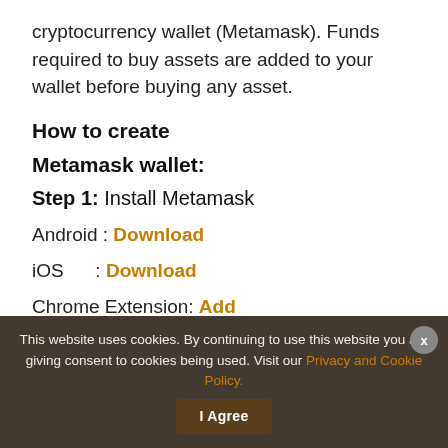cryptocurrency wallet (Metamask). Funds required to buy assets are added to your wallet before buying any asset.
How to create
Metamask wallet:
Step 1: Install Metamask
Android : Download
iOS      : Download
Chrome Extension: Add
(faded/partially visible line)
This website uses cookies. By continuing to use this website you are giving consent to cookies being used. Visit our Privacy and Cookie Policy.  I Agree